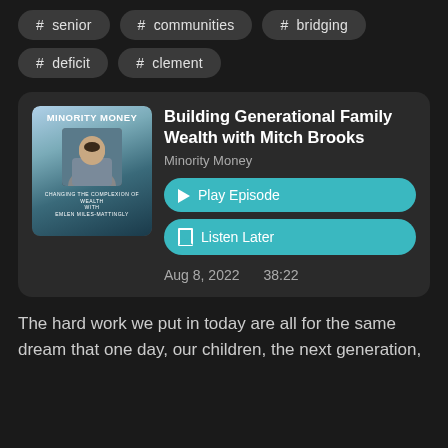# senior
# communities
# bridging
# deficit
# clement
[Figure (photo): Minority Money podcast cover art showing a man in a suit with text 'MINORITY MONEY' and 'CHANGING THE COMPLEXION OF WEALTH WITH EMLEN MILES-MATTINGLY']
Building Generational Family Wealth with Mitch Brooks
Minority Money
Play Episode
Listen Later
Aug 8, 2022    38:22
The hard work we put in today are all for the same dream that one day, our children, the next generation,